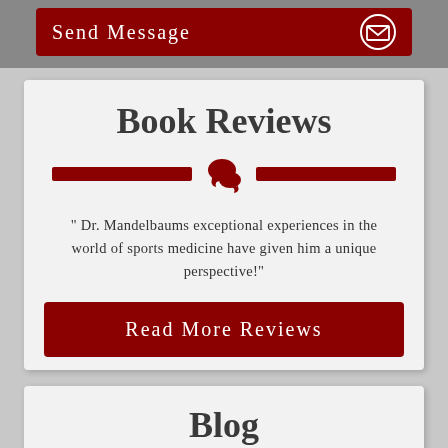[Figure (other): Red button with 'Send Message' text and email envelope icon on dark grey background]
Book Reviews
[Figure (other): Red speech bubble / chat icon between two red horizontal divider lines]
" Dr. Mandelbaums exceptional experiences in the world of sports medicine have given him a unique perspective!"
[Figure (other): Dark red button labeled 'Read More Reviews']
Blog
[Figure (other): RSS feed icon in grey square between two red horizontal divider lines]
Welcome to the Win-Within.com